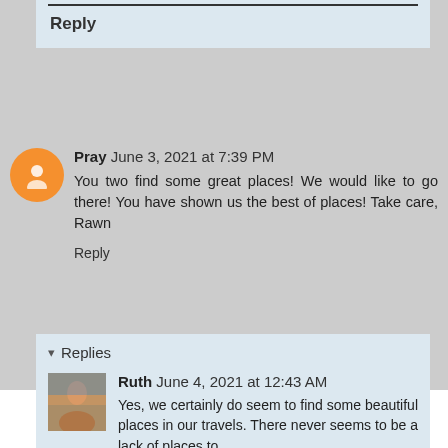Reply
Pray  June 3, 2021 at 7:39 PM
You two find some great places! We would like to go there! You have shown us the best of places! Take care, Rawn
Reply
Replies
Ruth  June 4, 2021 at 12:43 AM
Yes, we certainly do seem to find some beautiful places in our travels. There never seems to be a lack of places to